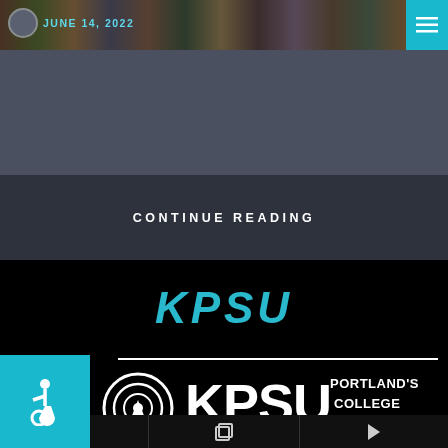[Figure (screenshot): Top banner with photo strip showing crowd/texture image, teal menu button top right, date badge showing JUNE 14, 2022]
CONTINUE READING
KPSU
[Figure (logo): KPSU Portland's College Radio logo with radio tower antenna icon and bold lettered KPSU text, white on black, with horizontal white rule above]
[Figure (infographic): Bottom navigation bar with search icon, copy/layers icon, and play button icon in three equal sections]